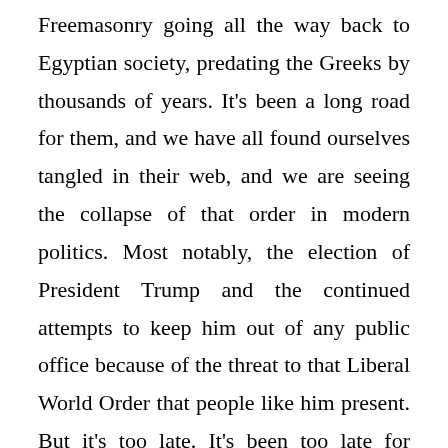Freemasonry going all the way back to Egyptian society, predating the Greeks by thousands of years. It's been a long road for them, and we have all found ourselves tangled in their web, and we are seeing the collapse of that order in modern politics. Most notably, the election of President Trump and the continued attempts to keep him out of any public office because of the threat to that Liberal World Order that people like him present. But it's too late. It's been too late for many decades now. As Charlie Kirk lays out the case in his book, college has always been a scam. Its never been suitable for American society built on capitalism and has seriously harmed intellectually the people who have gone through their liberal arts instruction of life sciences, physical sciences, logic, philosophy, history,